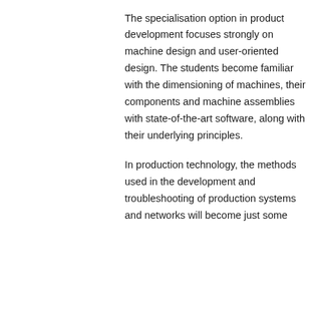The specialisation option in product development focuses strongly on machine design and user-oriented design. The students become familiar with the dimensioning of machines, their components and machine assemblies with state-of-the-art software, along with their underlying principles.
In production technology, the methods used in the development and troubleshooting of production systems and networks will become just some